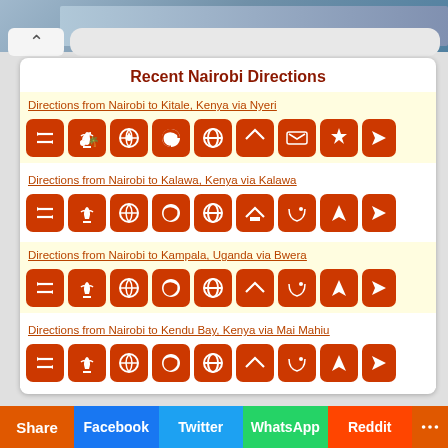Recent Nairobi Directions
Directions from Nairobi to Kitale, Kenya via Nyeri
Directions from Nairobi to Kalawa, Kenya via Kalawa
Directions from Nairobi to Kampala, Uganda via Bwera
Directions from Nairobi to Kendu Bay, Kenya via Mai Mahiu
Share | Facebook | Twitter | WhatsApp | Reddit